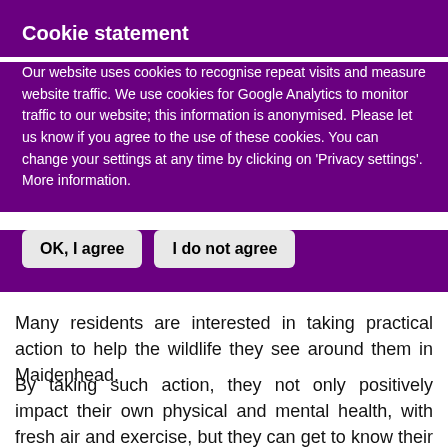Cookie statement
Our website uses cookies to recognise repeat visits and measure website traffic. We use cookies for Google Analytics to monitor traffic to our website; this information is anonymised. Please let us know if you agree to the use of these cookies. You can change your settings at any time by clicking on 'Privacy settings'. More information.
OK, I agree
I do not agree
Many residents are interested in taking practical action to help the wildlife they see around them in Maidenhead.
By taking such action, they not only positively impact their own physical and mental health, with fresh air and exercise, but they can get to know their neighbours and people in their immediate community; make new friends; and strengthen their connections with their locality, while making a contribution to the well-being of the area.